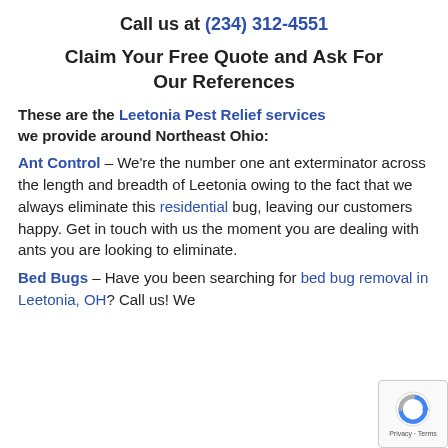Call us at (234) 312-4551
Claim Your Free Quote and Ask For Our References
These are the Leetonia Pest Relief services we provide around Northeast Ohio:
Ant Control – We're the number one ant exterminator across the length and breadth of Leetonia owing to the fact that we always eliminate this residential bug, leaving our customers happy. Get in touch with us the moment you are dealing with ants you are looking to eliminate.
Bed Bugs – Have you been searching for bed bug removal in Leetonia, OH? Call us! We